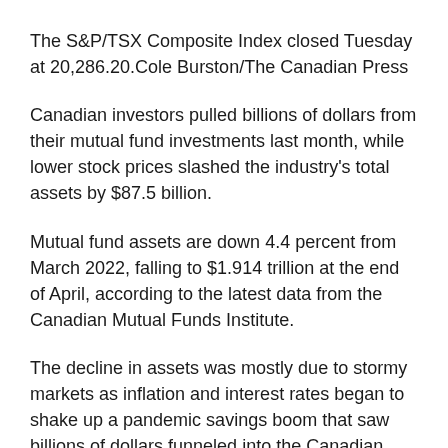The S&P/TSX Composite Index closed Tuesday at 20,286.20.Cole Burston/The Canadian Press
Canadian investors pulled billions of dollars from their mutual fund investments last month, while lower stock prices slashed the industry’s total assets by $87.5 billion.
Mutual fund assets are down 4.4 percent from March 2022, falling to $1.914 trillion at the end of April, according to the latest data from the Canadian Mutual Funds Institute.
The decline in assets was mostly due to stormy markets as inflation and interest rates began to shake up a pandemic savings boom that saw billions of dollars funneled into the Canadian